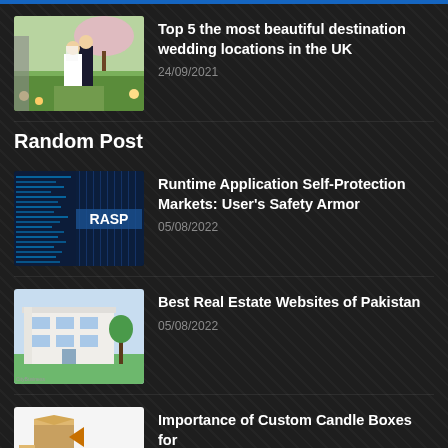[Figure (photo): Bride and groom walking in a garden with cherry blossoms]
Top 5 the most beautiful destination wedding locations in the UK
24/09/2021
Random Post
[Figure (screenshot): RASP - Runtime Application Self-Protection code/terminal screenshot with blue digital background]
Runtime Application Self-Protection Markets: User's Safety Armor
05/08/2022
[Figure (photo): Modern white building / real estate property photo]
Best Real Estate Websites of Pakistan
05/08/2022
[Figure (illustration): Custom candle boxes illustration with 'YOUR' text]
Importance of Custom Candle Boxes for